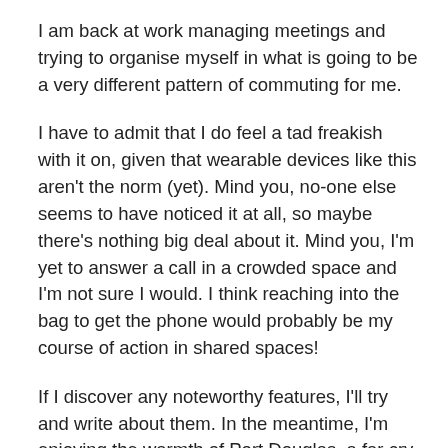I am back at work managing meetings and trying to organise myself in what is going to be a very different pattern of commuting for me.
I have to admit that I do feel a tad freakish with it on, given that wearable devices like this aren't the norm (yet). Mind you, no-one else seems to have noticed it at all, so maybe there's nothing big deal about it. Mind you, I'm yet to answer a call in a crowded space and I'm not sure I would. I think reaching into the bag to get the phone would probably be my course of action in shared spaces!
If I discover any noteworthy features, I'll try and write about them. In the meantime, I'm enjoying the warmth of Port Douglas, a far cry from the depths of a Melbourne winter. My daughter and I walked along the beach at Cape Tribulation today, and I marvelled at the fact that I